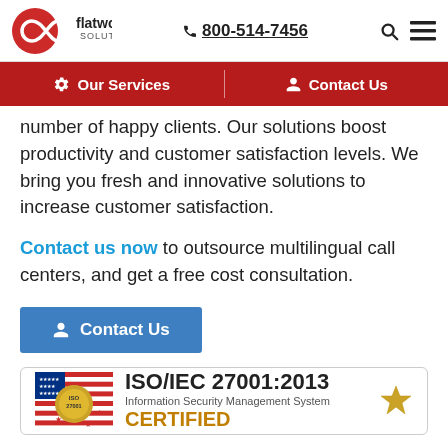flatworld solutions | 800-514-7456
Our Services | Contact Us
number of happy clients. Our solutions boost productivity and customer satisfaction levels. We bring you fresh and innovative solutions to increase customer satisfaction.
Contact us now to outsource multilingual call centers, and get a free cost consultation.
Contact Us
[Figure (logo): ISO/IEC 27001:2013 Information Security Management System CERTIFIED badge with US flag background]